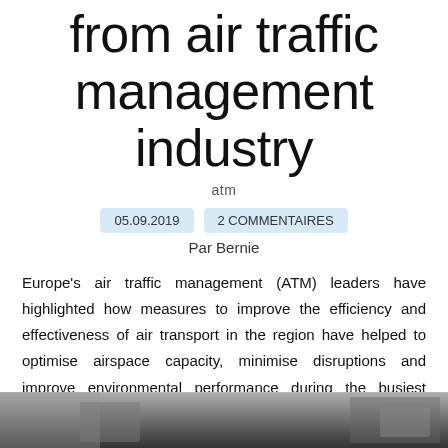from air traffic management industry
atm
05.09.2019   2 COMMENTAIRES
Par Bernie
Europe's air traffic management (ATM) leaders have highlighted how measures to improve the efficiency and effectiveness of air transport in the region have helped to optimise airspace capacity, minimise disruptions and improve environmental performance during the busiest summer on record.
[Figure (photo): Photograph of air traffic management related scene, partially visible at the bottom of the page]